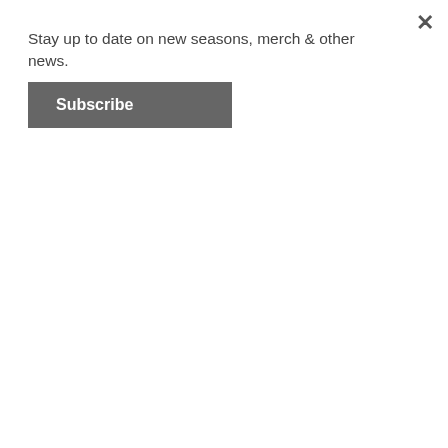Stay up to date on new seasons, merch & other news.
Subscribe
[Figure (screenshot): Blue 'ENTER STORE' button on a banner with a woman with blonde hair in the background]
Click Here To Buy Motrin! Great Discounts and Worldwide Shipping!
Order Motrin Online And Save Your Money!!!
= Really Amazing prices =
= NO PRESCRIPTION REQUIRED! =
= Top Quality Medications! =
= Discount & Bonuses =
= Fast and Discreet Shipping Worldwide =
= 24/7 Customer Support. Free Consultation =
= We accept: Visa/MasterCard/eCheck/Amex =